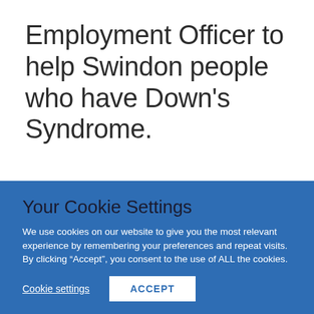Employment Officer to help Swindon people who have Down’s Syndrome.
Your Cookie Settings
We use cookies on our website to give you the most relevant experience by remembering your preferences and repeat visits. By clicking “Accept”, you consent to the use of ALL the cookies.
Cookie settings
ACCEPT